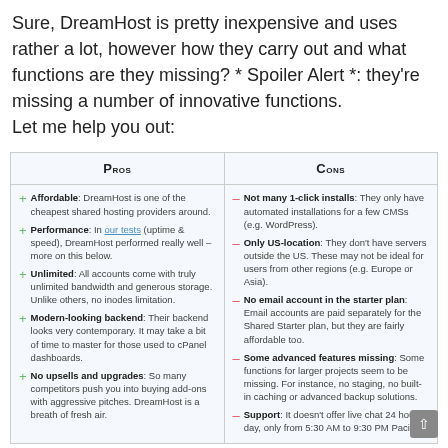Sure, DreamHost is pretty inexpensive and uses rather a lot, however how they carry out and what functions are they missing? * Spoiler Alert *: they're missing a number of innovative functions.
Let me help you out:
| Pros | Cons |
| --- | --- |
| Affordable: DreamHost is one of the cheapest shared hosting providers around.
Performance: In our tests (uptime & speed), DreamHost performed really well – more on this below.
Unlimited: All accounts come with truly unlimited bandwidth and generous storage. Unlike others, no inodes limitation.
Modern-looking backend: Their backend looks very contemporary. It may take a bit of time to master for those used to cPanel dashboards.
No upsells and upgrades: So many competitors push you into buying add-ons with aggressive pitches. DreamHost is a breath of fresh air. | Not many 1-click installs: They only have automated installations for a few CMSs (e.g. WordPress).
Only US-location: They don't have servers outside the US. These may not be ideal for users from other regions (e.g. Europe or Asia).
No email account in the starter plan: Email accounts are paid separately for the Shared Starter plan, but they are fairly affordable too.
Some advanced features missing: Some functions for larger projects seem to be missing. For instance, no staging, no built-in caching or advanced backup solutions.
Support: It doesn't offer live chat 24 hours day, only from 5:30 AM to 9:30 PM Pacific. |